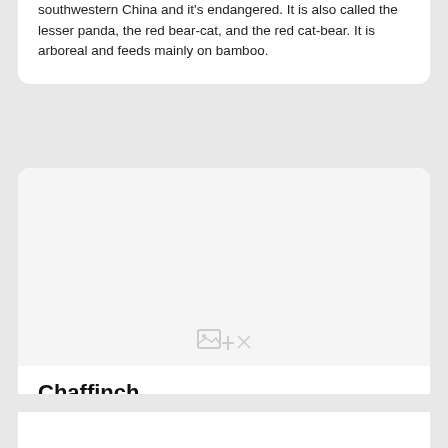southwestern China and it's endangered. It is also called the lesser panda, the red bear-cat, and the red cat-bear. It is arboreal and feeds mainly on bamboo.
[Figure (photo): Image placeholder for chaffinch photo — grey area with a small image loading icon at the bottom center]
Chaffinch
In today's puzzle we feature a chaffinch resting on dry tree branch. The common chaffinch or simply the chaffinch is about 14.5 cm long, with a wingspan of 24.5-28.5 cm and a weight of 18-29 g. The male is brightly colored with a blue-grey cap and rust-red underparts. The female is much duller in color, but both sexes have two contrasting white wing bars and white sides to the tail.